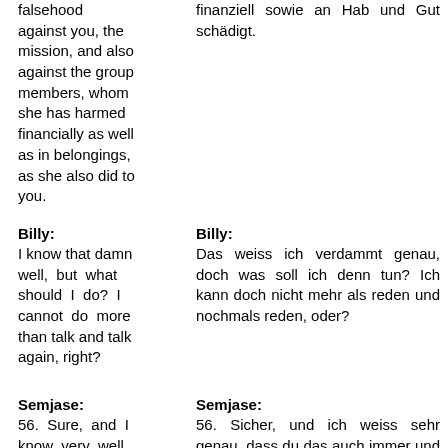falsehood against you, the mission, and also against the group members, whom she has harmed financially as well as in belongings, as she also did to you.
finanziell sowie an Hab und Gut schädigt.
Billy:
Billy:
I know that damn well, but what should I do? I cannot do more than talk and talk again, right?
Das weiss ich verdammt genau, doch was soll ich denn tun? Ich kann doch nicht mehr als reden und nochmals reden, oder?
Semjase:
Semjase:
56. Sure, and I know very well
56. Sicher, und ich weiss sehr genau, dass du das auch immer und immer wieder